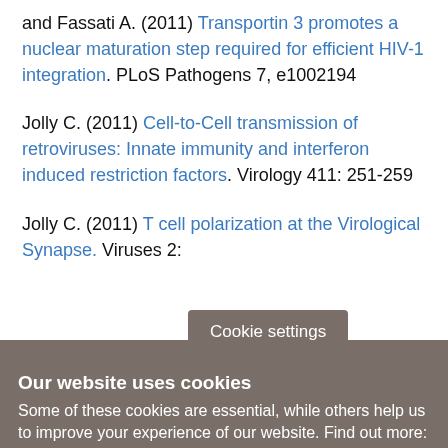and Fassati A. (2011) Transportin 3 promotes a nuclear maturation step required for efficient HIV-1 integration. PLoS Pathogens 7, e1002194
Jolly C. (2011) Cell-to-Cell transmission of retroviruses: Innate immunity and interferon induced restriction factors. Virology 411: 251-259
Jolly C. (2011) T cell polarization at the Virological Synapse. Viruses 2:...
Cookie settings
Our website uses cookies
Some of these cookies are essential, while others help us to improve your experience of our website. Find out more: Privacy Policy (opens in new window)
Accept all cookies
Manage cookies